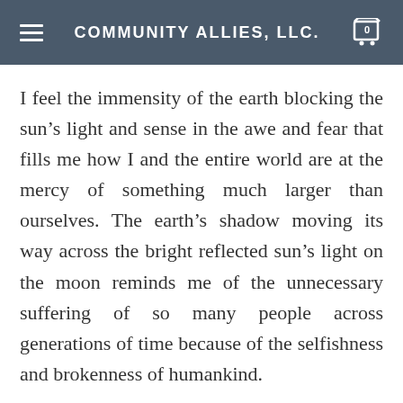COMMUNITY ALLIES, LLC.
I feel the immensity of the earth blocking the sun’s light and sense in the awe and fear that fills me how I and the entire world are at the mercy of something much larger than ourselves. The earth’s shadow moving its way across the bright reflected sun’s light on the moon reminds me of the unnecessary suffering of so many people across generations of time because of the selfishness and brokenness of humankind.